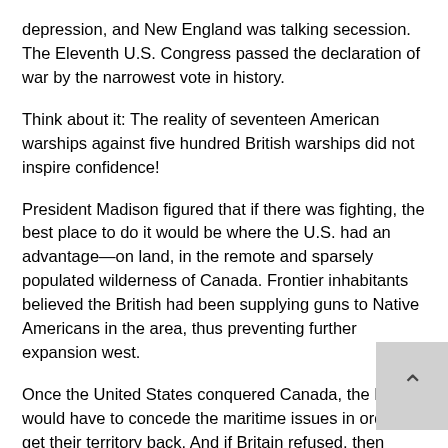depression, and New England was talking secession. The Eleventh U.S. Congress passed the declaration of war by the narrowest vote in history.
Think about it: The reality of seventeen American warships against five hundred British warships did not inspire confidence!
President Madison figured that if there was fighting, the best place to do it would be where the U.S. had an advantage—on land, in the remote and sparsely populated wilderness of Canada. Frontier inhabitants believed the British had been supplying guns to Native Americans in the area, thus preventing further expansion west.
Once the United States conquered Canada, the British would have to concede the maritime issues in order to get their territory back. And if Britain refused, then Canada would be permanently annexed.